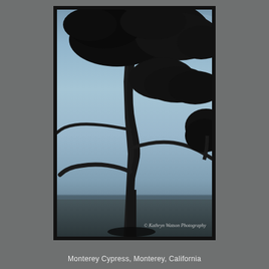[Figure (photo): Black and white silhouette photograph of Monterey Cypress trees against a pale blue-grey sky with ocean horizon visible in background. Dramatic tree silhouettes with spreading canopy. Watermark reads '© Kathryn Watson Photography'.]
Monterey Cypress, Monterey, California